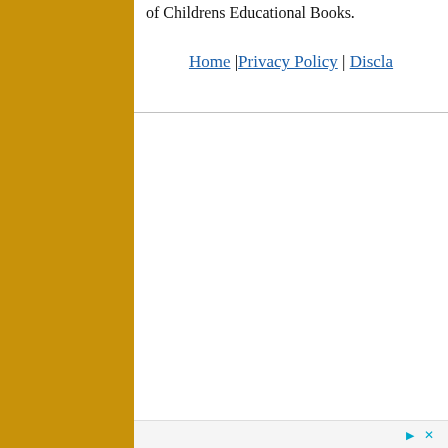of Childrens Educational Books.
Home | Privacy Policy | Discla...
[Figure (other): Horizontal divider line]
[Figure (other): Advertisement bar with close/skip icons at bottom of page]